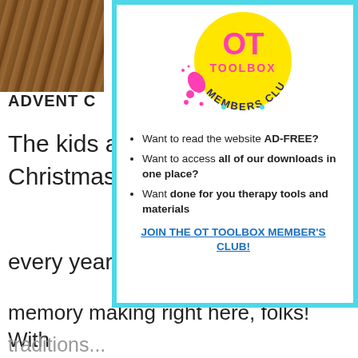[Figure (logo): OT Toolbox Members Club logo — circular badge with yellow background, pink and teal decorative elements, text 'OT TOOLBOX' in pink and 'MEMBERS CLUB' in dark teal/navy around the edge]
Want to read the website AD-FREE?
Want to access all of our downloads in one place?
Want done for you therapy tools and materials
JOIN THE OT TOOLBOX MEMBER'S CLUB!
ADVENT C
The kids ar
Christmas a
every year
memory making right here, folks!  With a black Marker, I wrote out our favorite
traditions...